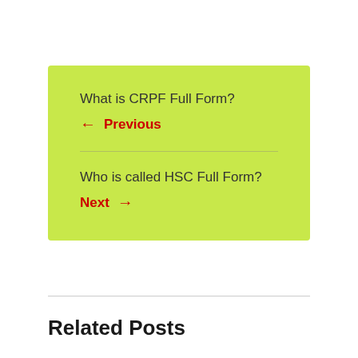What is CRPF Full Form?
← Previous
Who is called HSC Full Form?
Next →
Related Posts